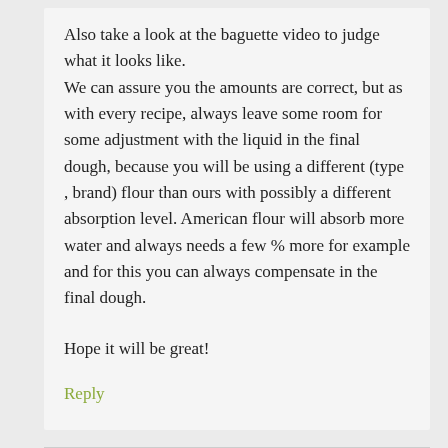Also take a look at the baguette video to judge what it looks like. We can assure you the amounts are correct, but as with every recipe, always leave some room for some adjustment with the liquid in the final dough, because you will be using a different (type , brand) flour than ours with possibly a different absorption level. American flour will absorb more water and always needs a few % more for example and for this you can always compensate in the final dough.
Hope it will be great!
Reply